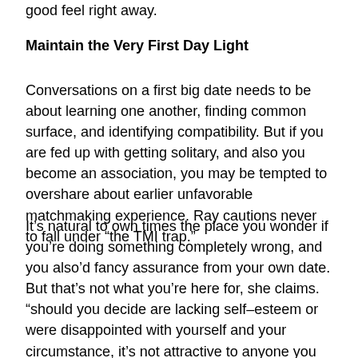good feel right away.
Maintain the Very First Day Light
Conversations on a first big date needs to be about learning one another, finding common surface, and identifying compatibility. But if you are fed up with getting solitary, and also you become an association, you may be tempted to overshare about earlier unfavorable matchmaking experience. Ray cautions never to fall under “the TMI trap.”
It’s natural to own times the place you wonder if you’re doing something completely wrong, and you also’d fancy assurance from your own date. But that’s not what you’re here for, she claims. “should you decide are lacking self-esteem or were disappointed with yourself and your circumstance, it’s not attractive to anyone you are newly online dating,” Ray claims. As an alternative, function as